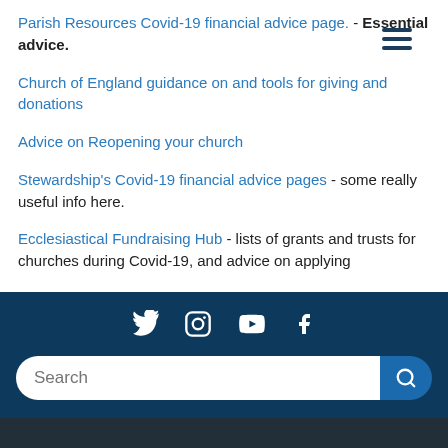[Figure (other): Hamburger menu icon (three horizontal lines) in top right corner]
Parish Resources Covid-19 financial advice page. - Essential advice.
Church of England guidance on and tools for giving and donations
Advice on Reopening your church
Stewardship's Covid-19 financial advice pages - some really useful info here.
Ecclesiastical Fundraising Hub - lists of grants and trusts for churches during Covid-19, and advice on applying
Social media icons: Twitter, Instagram, YouTube, Facebook. Search bar.